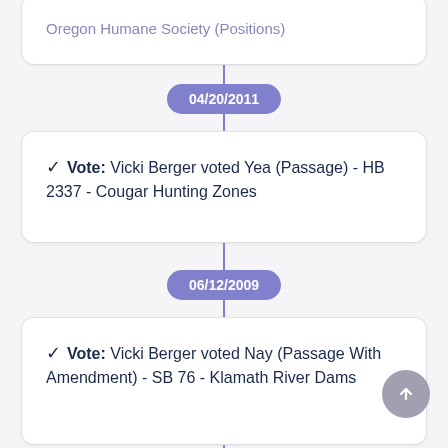Oregon Humane Society (Positions)
04/20/2011
Vote: Vicki Berger voted Yea (Passage) - HB 2337 - Cougar Hunting Zones
06/12/2009
Vote: Vicki Berger voted Nay (Passage With Amendment) - SB 76 - Klamath River Dams